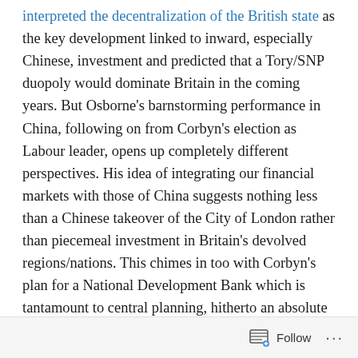interpreted the decentralization of the British state as the key development linked to inward, especially Chinese, investment and predicted that a Tory/SNP duopoly would dominate Britain in the coming years. But Osborne's barnstorming performance in China, following on from Corbyn's election as Labour leader, opens up completely different perspectives. His idea of integrating our financial markets with those of China suggests nothing less than a Chinese takeover of the City of London rather than piecemeal investment in Britain's devolved regions/nations. This chimes in too with Corbyn's plan for a National Development Bank which is tantamount to central planning, hitherto an absolute taboo. It is not difficult to see that the kind of infrastructure overhaul that Britain requires cannot be done merely through devolved
Follow ...